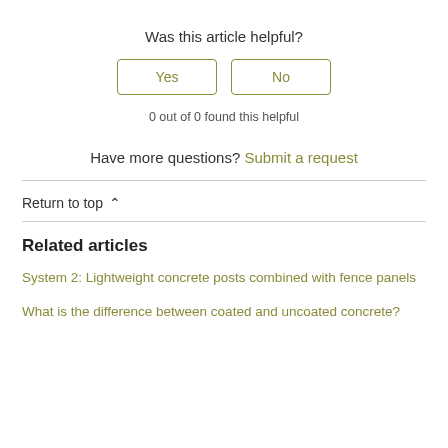Was this article helpful?
[Figure (other): Two buttons labeled 'Yes' and 'No' with olive/yellow-green bordered outlines]
0 out of 0 found this helpful
Have more questions? Submit a request
Return to top ∧
Related articles
System 2: Lightweight concrete posts combined with fence panels
What is the difference between coated and uncoated concrete?